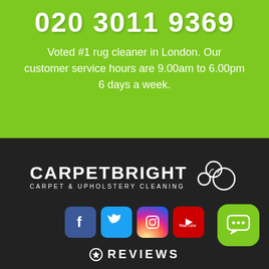020 3011 9369
Voted #1 rug cleaner in London. Our customer service hours are 9.00am to 6.00pm 6 days a week.
[Figure (logo): CarpetBright logo with carpet & upholstery cleaning text and bubble graphics]
[Figure (infographic): Social media icons: Facebook, Twitter, Instagram, YouTube, and a green chat button]
REVIEWS